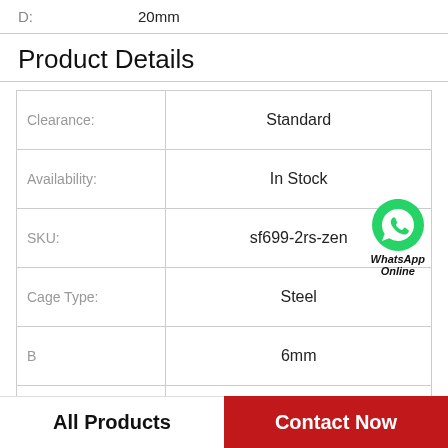D: 20mm
Product Details
|  |  |
| --- | --- |
| Clearance: | Standard |
| Availability: | In Stock |
| SKU: | sf699-2rs-zen |
| Cage Type: | Steel |
| B | 6mm |
| d | 9mm |
| Weight | 0.20 KGS |
All Products   Contact Now